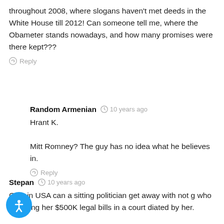throughout 2008, where slogans haven't met deeds in the White House till 2012! Can someone tell me, where the Obameter stands nowadays, and how many promises were there kept???
Reply
Random Armenian  10 years ago
Hrant K.
Mitt Romney? The guy has no idea what he believes in.
Reply
Stepan  10 years ago
Only in USA can a sitting politician get away with not [saying] who is paying her $500K legal bills in a court [adjudicated] by her.